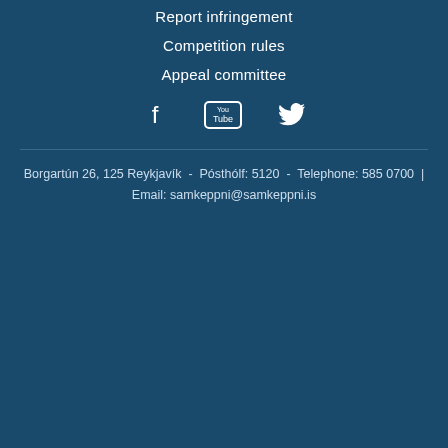Report infringement
Competition rules
Appeal committee
[Figure (illustration): Social media icons: Facebook, YouTube, Twitter]
Borgartún 26, 125 Reykjavík  -  Pósthólf: 5120  -  Telephone: 585 0700  |  Email: samkeppni@samkeppni.is